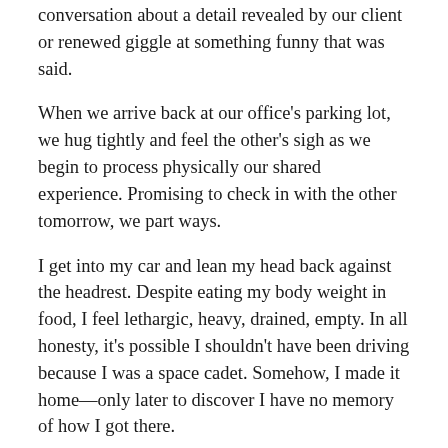conversation about a detail revealed by our client or renewed giggle at something funny that was said.
When we arrive back at our office's parking lot, we hug tightly and feel the other's sigh as we begin to process physically our shared experience. Promising to check in with the other tomorrow, we part ways.
I get into my car and lean my head back against the headrest. Despite eating my body weight in food, I feel lethargic, heavy, drained, empty. In all honesty, it's possible I shouldn't have been driving because I was a space cadet. Somehow, I made it home—only later to discover I have no memory of how I got there.
Then, I weep. Tears leaking over my cheeks as I prepare my dinner and wander about the house aimlessly. Later,